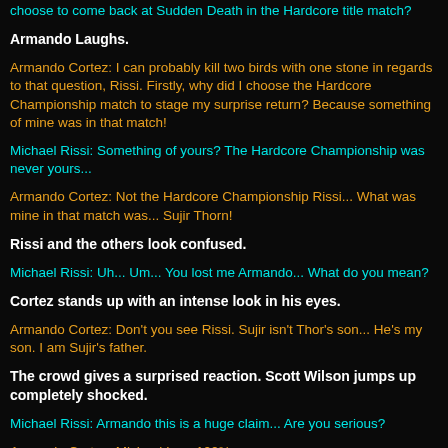choose to come back at Sudden Death in the Hardcore title match?
Armando Laughs.
Armando Cortez: I can probably kill two birds with one stone in regards to that question, Rissi. Firstly, why did I choose the Hardcore Championship match to stage my surprise return? Because something of mine was in that match!
Michael Rissi: Something of yours? The Hardcore Championship was never yours...
Armando Cortez: Not the Hardcore Championship Rissi... What was mine in that match was... Sujir Thorn!
Rissi and the others look confused.
Michael Rissi: Uh... Um... You lost me Armando... What do you mean?
Cortez stands up with an intense look in his eyes.
Armando Cortez: Don't you see Rissi. Sujir isn't Thor's son... He's my son. I am Sujir's father.
The crowd gives a surprised reaction. Scott Wilson jumps up completely shocked.
Michael Rissi: Armando this is a huge claim... Are you serious?
Armando Cortez: Michael I am 100%...